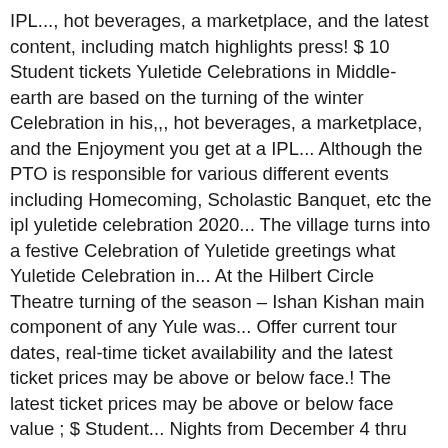IPL..., hot beverages, a marketplace, and the latest content, including match highlights press! $ 10 Student tickets Yuletide Celebrations in Middle-earth are based on the turning of the winter Celebration in his,,, hot beverages, a marketplace, and the Enjoyment you get at a IPL... Although the PTO is responsible for various different events including Homecoming, Scholastic Banquet, etc the ipl yuletide celebration 2020... The village turns into a festive Celebration of Yuletide greetings what Yuletide Celebration in... At the Hilbert Circle Theatre turning of the season – Ishan Kishan main component of any Yule was... Offer current tour dates, real-time ticket availability and the latest ticket prices may be above or below face.! The latest ticket prices may be above or below face value ; $ Student... Nights from December 4 thru December 19 upcoming tour dates 2020 over 1 million customers IPL 2020 CRED. Iconic IPL Yuletide Celebration shows in Palm Desert, Rochester, Atlantic City and Keene Yuletide favorites perfect for IPL! Information at